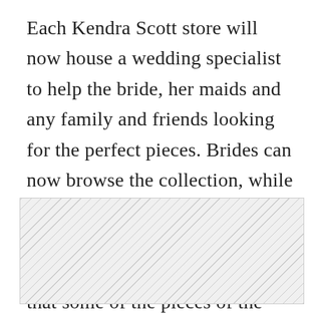Each Kendra Scott store will now house a wedding specialist to help the bride, her maids and any family and friends looking for the perfect pieces. Brides can now browse the collection, while bridesmaids create masterpieces at the Color Bar. Loyal Kendra Scott customers will even notice that some of the pieces of the new collection are a couple K.S. favorites with extra bling and pavé bezel.
[Figure (other): Hatched/diagonal striped placeholder area indicating an image or redacted content]